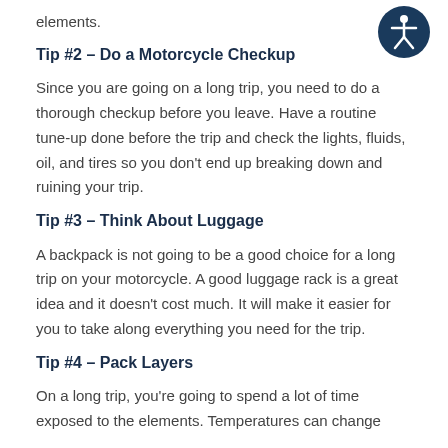elements.
[Figure (illustration): Accessibility icon: dark blue circle with white stylized human figure (arms and legs outstretched)]
Tip #2 – Do a Motorcycle Checkup
Since you are going on a long trip, you need to do a thorough checkup before you leave. Have a routine tune-up done before the trip and check the lights, fluids, oil, and tires so you don't end up breaking down and ruining your trip.
Tip #3 – Think About Luggage
A backpack is not going to be a good choice for a long trip on your motorcycle. A good luggage rack is a great idea and it doesn't cost much. It will make it easier for you to take along everything you need for the trip.
Tip #4 – Pack Layers
On a long trip, you're going to spend a lot of time exposed to the elements. Temperatures can change